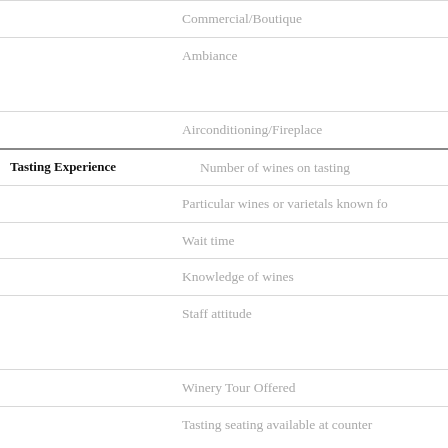Commercial/Boutique
Ambiance
Airconditioning/Fireplace
Tasting Experience
Number of wines on tasting
Particular wines or varietals known fo
Wait time
Knowledge of wines
Staff attitude
Winery Tour Offered
Tasting seating available at counter